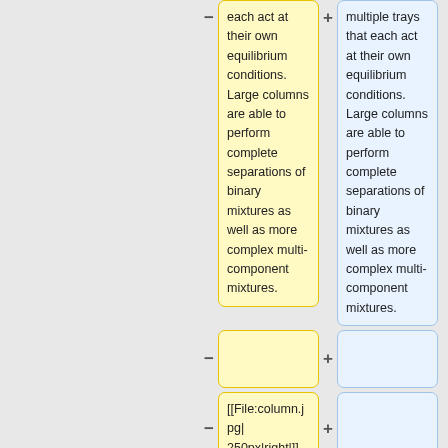each act at their own equilibrium conditions. Large columns are able to perform complete separations of binary mixtures as well as more complex multi-component mixtures.
multiple trays that each act at their own equilibrium conditions. Large columns are able to perform complete separations of binary mixtures as well as more complex multi-component mixtures.
[[File:column.jpg|250px|right|]]
====Distillation Equipment====
====McCabe-Thiele Diagrams====